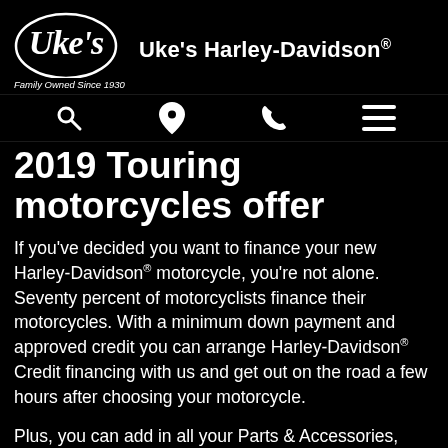[Figure (logo): Uke's Harley-Davidson logo with script 'Uke's' text and 'Family Owned Since 1930' tagline]
Uke's Harley-Davidson®
2019 Touring motorcycles offer
If you've decided you want to finance your new Harley-Davidson® motorcycle, you're not alone. Seventy percent of motorcyclists finance their motorcycles. With a minimum down payment and approved credit you can arrange Harley-Davidson® Credit financing with us and get out on the road a few hours after choosing your motorcycle.
Plus, you can add in all your Parts & Accessories, MotorClothes® Apparel, the Harley-Davidson® Extended Service Plan, Cycle Insurance and more. You'll have something even longer to show below.